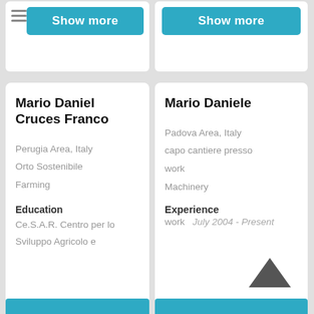Show more
Show more
Mario Daniel Cruces Franco
Perugia Area, Italy
Orto Sostenibile
Farming
Education
Ce.S.A.R. Centro per lo
Sviluppo Agricolo e
Mario Daniele
Padova Area, Italy
capo cantiere presso
work
Machinery
Experience
work  July 2004 - Present